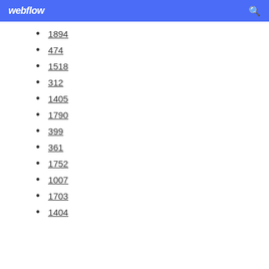webflow
1894
474
1518
312
1405
1790
399
361
1752
1007
1703
1404